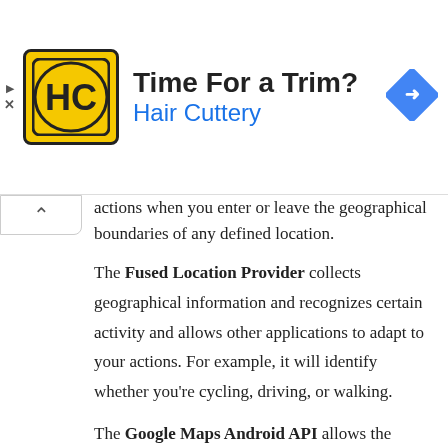[Figure (illustration): Advertisement banner for Hair Cuttery with logo, tagline 'Time For a Trim?', brand name 'Hair Cuttery', navigation icon, and ad controls (play/close buttons).]
actions when you enter or leave the geographical boundaries of any defined location.
The Fused Location Provider collects geographical information and recognizes certain activity and allows other applications to adapt to your actions. For example, it will identify whether you're cycling, driving, or walking.
The Google Maps Android API allows the applications on your device to include Street View for Google Maps, even if you don't open up the separate program. It takes full control over